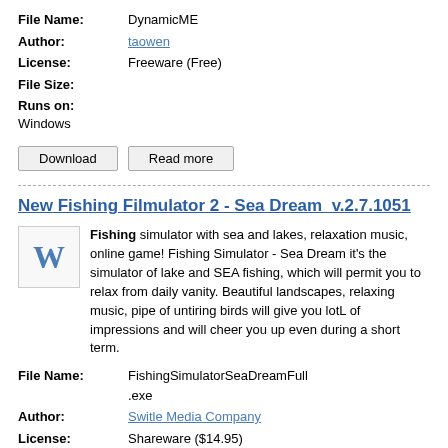File Name: DynamicME
Author: taowen
License: Freeware (Free)
File Size:
Runs on: Windows
Download | Read more
New Fishing Filmulator 2 - Sea Dream  v.2.7.1051
Fishing simulator with sea and lakes, relaxation music, online game! Fishing Simulator - Sea Dream it's the simulator of lake and SEA fishing, which will permit you to relax from daily vanity. Beautiful landscapes, relaxing music, pipe of untiring birds will give you lotL of impressions and will cheer you up even during a short term.
File Name: FishingSimulatorSeaDreamFull.exe
Author: Switle Media Company
License: Shareware ($14.95)
File Size: 164.2 Mb
Runs on: WinXP, Win Vista, Win98